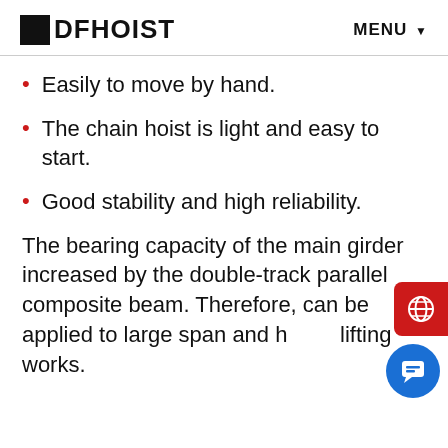DFHOIST   MENU
Easily to move by hand.
The chain hoist is light and easy to start.
Good stability and high reliability.
The bearing capacity of the main girder increased by the double-track parallel composite beam. Therefore, can be applied to large span and heavy lifting works.